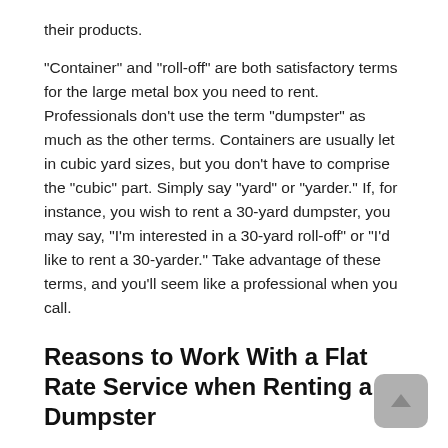their products.
"Container" and "roll-off" are both satisfactory terms for the large metal box you need to rent. Professionals don't use the term "dumpster" as much as the other terms. Containers are usually let in cubic yard sizes, but you don't have to comprise the "cubic" part. Simply say "yard" or "yarder." If, for instance, you wish to rent a 30-yard dumpster, you may say, "I'm interested in a 30-yard roll-off" or "I'd like to rent a 30-yarder." Take advantage of these terms, and you'll seem like a professional when you call.
Reasons to Work With a Flat Rate Service when Renting a Dumpster
Dumpster rental businesses that charge flat rates are often the very best options for contractors and home owners. When you utilize a company that bills a flat rate, you can anticipate at least two benefits.